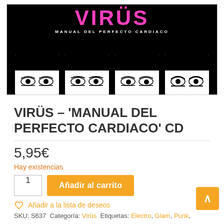[Figure (photo): Album cover for Virüs 'Manual del Perfecto Cardiaco' showing the band name in pink on black background with stylized eyes of band members below]
VIRÜS – 'MANUAL DEL PERFECTO CARDIACO' CD
5,95€
Hay existencias
Añadir al carrito
Añadir a la lista de deseos
SKU: S637 Categoría: Virüs Etiquetas: Electro, Glam, Punk,